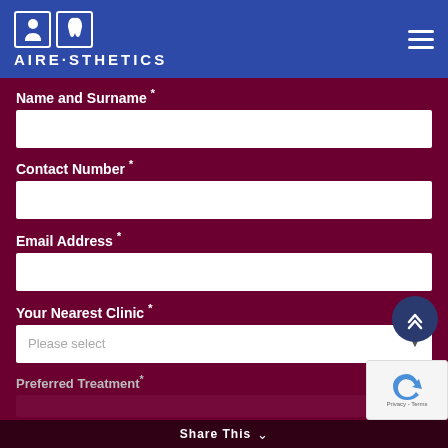[Figure (logo): Airesthetics logo with two icons (person silhouette and tooth) in blue squares, and the text AIRE·STHETICS in white on a blue background header with hamburger menu icon.]
Name and Surname *
Contact Number *
Email Address *
Your Nearest Clinic *
Preferred Treatment *
Share This